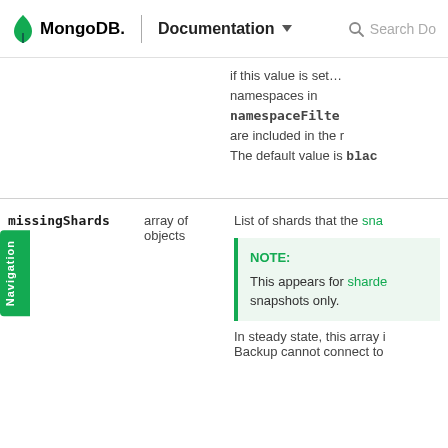MongoDB. | Documentation   Search Do
if this value is set … namespaces in namespaceFilte are included in the r
The default value is blac
| Field | Type | Description |
| --- | --- | --- |
| missingShards | array of objects | List of shards that the sna…
NOTE: This appears for sharde snapshots only.
In steady state, this array i Backup cannot connect to |